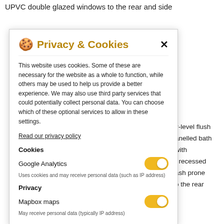UPVC double glazed windows to the rear and side
[Figure (screenshot): Privacy & Cookies modal dialog overlay on a real estate website. The modal has a cookie icon, title 'Privacy & Cookies', close button (×), descriptive text about cookie usage, a 'Read our privacy policy' link, a Cookies section with Google Analytics toggle (enabled), and a Privacy section with Mapbox maps toggle (enabled). Background text partially visible behind modal mentions flush bath, recessed, splash prone, to the rear, mostly laid, and well-, d and a.]
v-level flush
anelled bath
with
, recessed
ash prone
o the rear
ostly laid to
and well-
d and a